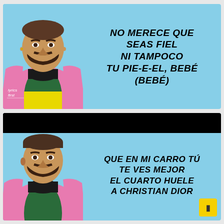[Figure (photo): Man with beard wearing pink and green jacket on light blue background, with lyrics text overlay reading: NO MERECE QUE SEAS FIEL NI TAMPOCO TU PIE-E-EL, BEBÉ (BEBÉ). Lyrics First watermark visible.]
[Figure (photo): Man with beard wearing pink and green jacket on light blue background with black bar at top, with lyrics text overlay reading: QUE EN MI CARRO TÚ TE VES MEJOR EL CUARTO HUELE A CHRISTIAN DIOR. Yellow chat button visible.]